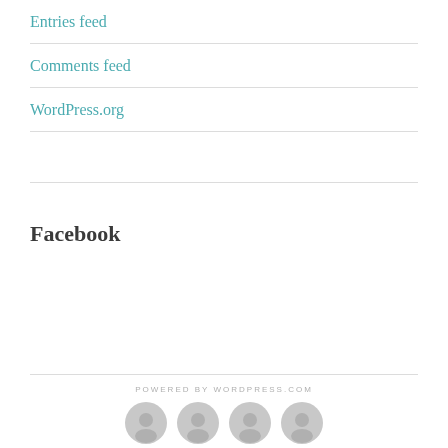Entries feed
Comments feed
WordPress.org
Facebook
POWERED BY WORDPRESS.COM